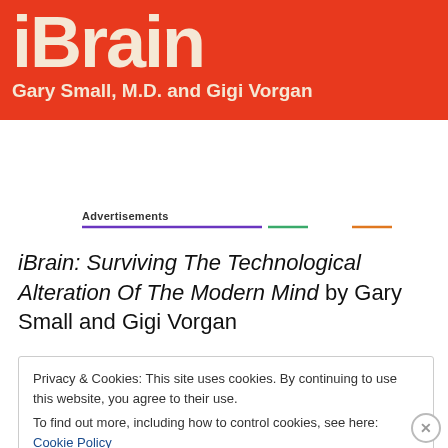[Figure (illustration): Book cover banner for iBrain by Gary Small M.D. and Gigi Vorgan. Red/orange background with large cream-colored 'iBrain' text and author names below.]
Advertisements
iBrain: Surviving The Technological Alteration Of The Modern Mind by Gary Small and Gigi Vorgan
Privacy & Cookies: This site uses cookies. By continuing to use this website, you agree to their use.
To find out more, including how to control cookies, see here: Cookie Policy